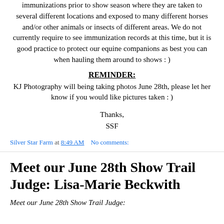immunizations prior to show season where they are taken to several different locations and exposed to many different horses and/or other animals or insects of different areas. We do not currently require to see immunization records at this time, but it is good practice to protect our equine companions as best you can when hauling them around to shows : )
REMINDER:
KJ Photography will being taking photos June 28th, please let her know if you would like pictures taken : )
Thanks,
SSF
Silver Star Farm at 8:49 AM    No comments:
Meet our June 28th Show Trail Judge: Lisa-Marie Beckwith
Meet our June 28th Show Trail Judge: